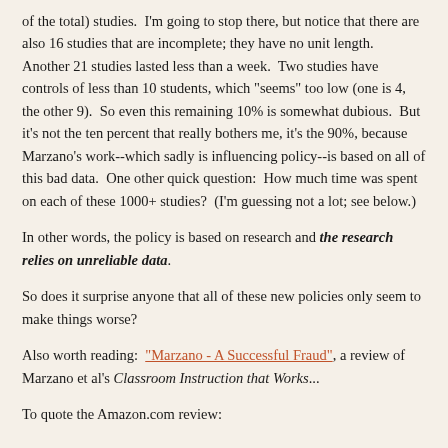of the total) studies.  I'm going to stop there, but notice that there are also 16 studies that are incomplete; they have no unit length.  Another 21 studies lasted less than a week.  Two studies have controls of less than 10 students, which "seems" too low (one is 4, the other 9).  So even this remaining 10% is somewhat dubious.  But it's not the ten percent that really bothers me, it's the 90%, because Marzano's work--which sadly is influencing policy--is based on all of this bad data.  One other quick question:  How much time was spent on each of these 1000+ studies?  (I'm guessing not a lot; see below.)
In other words, the policy is based on research and the research relies on unreliable data.
So does it surprise anyone that all of these new policies only seem to make things worse?
Also worth reading:  "Marzano - A Successful Fraud", a review of Marzano et al's Classroom Instruction that Works...
To quote the Amazon.com review: